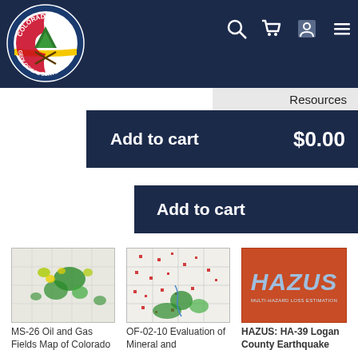[Figure (screenshot): Colorado Geological Survey logo — circular badge with mountain and mining pick imagery, text COLORADO GEOLOGICAL SURVEY]
[Figure (screenshot): Navigation icons: search magnifying glass, shopping cart, user profile, hamburger menu — white icons on dark navy background]
Resources
Add to cart   $0.00
Add to cart
[Figure (map): MS-26 Oil and Gas Fields Map of Colorado — geological map showing green and yellow field locations on grid background]
[Figure (map): OF-02-10 Evaluation of Mineral and — geological map with red and green dots on grid]
[Figure (illustration): HAZUS: HA-39 Logan County Earthquake — orange cover with HAZUS logo in blue/silver metallic letters]
MS-26 Oil and Gas Fields Map of Colorado
OF-02-10 Evaluation of Mineral and
HAZUS: HA-39 Logan County Earthquake